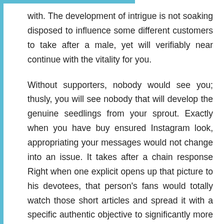with. The development of intrigue is not soaking disposed to influence some different customers to take after a male, yet will verifiably near continue with the vitality for you.
Without supporters, nobody would see you; thusly, you will see nobody that will develop the genuine seedlings from your sprout. Exactly when you have buy ensured Instagram look, appropriating your messages would not change into an issue. It takes after a chain response Right when one explicit opens up that picture to his devotees, that person's fans would totally watch those short articles and spread it with a specific authentic objective to significantly more request. Furthermore the structure continues and also. Like a chain response Hacking